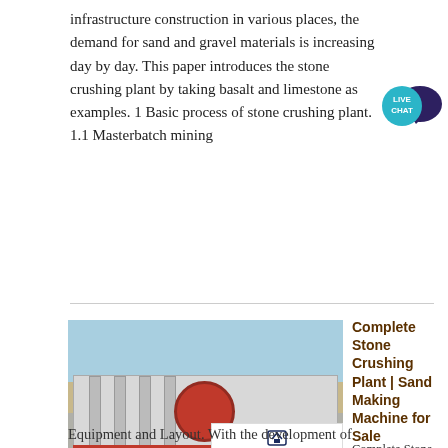infrastructure construction in various places, the demand for sand and gravel materials is increasing day by day. This paper introduces the stone crushing plant by taking basalt and limestone as examples. 1 Basic process of stone crushing plant. 1.1 Masterbatch mining
[Figure (other): Live Chat speech bubble badge icon in teal/dark blue colors with text LIVE CHAT]
Get Price
[Figure (photo): Photo of a complete stone crushing plant mounted on a flatbed truck trailer, with red crusher unit visible, industrial equipment, sky background. Acrusher Mining Equipment logo overlaid at bottom right.]
Complete Stone Crushing Plant | Sand Making Machine for Sale
Complete Stone Crushing Plant:
Equipment and Layout. With the development of